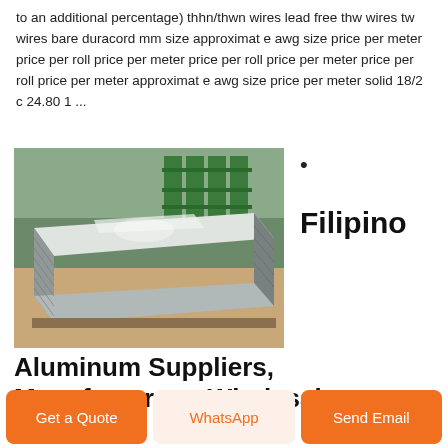to an additional percentage) thhn/thwn wires lead free thw wires tw wires bare duracord mm size approximat e awg size price per meter price per roll price per meter price per roll price per meter price per roll price per meter approximat e awg size price per meter solid 18/2 c 24.80 1 ...
[Figure (photo): Stack of aluminum sheets in a warehouse with green shelving in the background]
•
Filipino
Aluminum Suppliers, Manufacturers, Wholesalers
Get a Quote
WhatsApp
Send Email